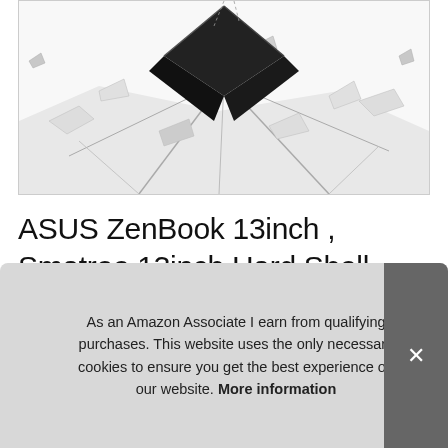[Figure (photo): Product promotional image of a dark geometric/angular laptop case bursting through a cracked white surface, dramatic lighting]
ASUS ZenBook 13inch , Smatree 13inch Hard Shell Laptop Case for Dell XPS 13 9310 7390 9380, Samsung Galaxy Book Flex Alpha 13.3"Laptop Bag
As an Amazon Associate I earn from qualifying purchases. This website uses the only necessary cookies to ensure you get the best experience on our website. More information